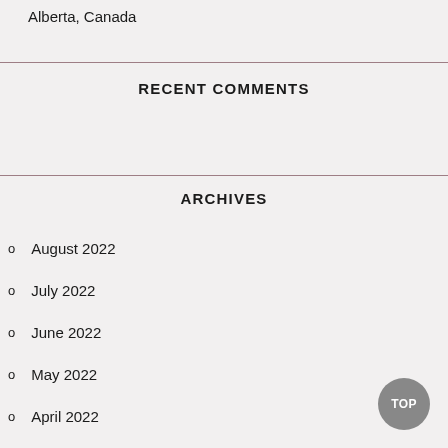Alberta, Canada
RECENT COMMENTS
ARCHIVES
August 2022
July 2022
June 2022
May 2022
April 2022
March 2022